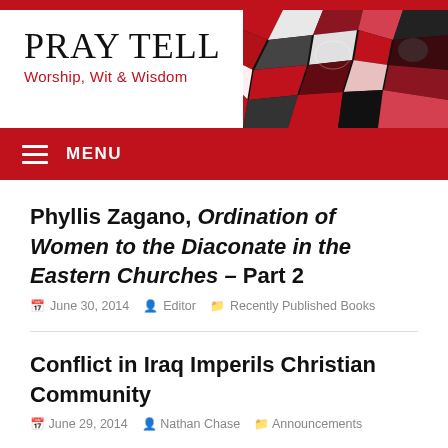PRAY TELL
Worship, Wit & Wisdom
[Figure (illustration): Stained glass abstract art in red, white, and dark tones used as header image]
MENU
Phyllis Zagano, Ordination of Women to the Diaconate in the Eastern Churches – Part 2
June 30, 2014   Editor   Recently Published Books
Conflict in Iraq Imperils Christian Community
June 29, 2014   Nathan Chase   Announcements